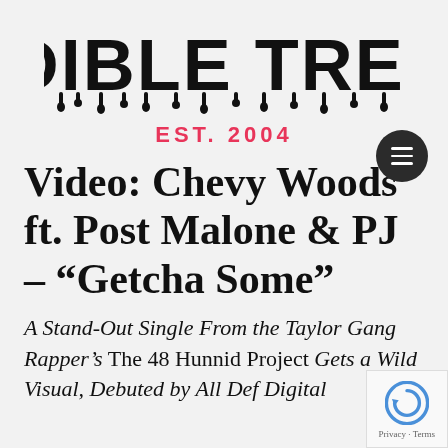[Figure (logo): Audible Treats logo with drip-style lettering and EST. 2004 subtitle in red]
Video: Chevy Woods ft. Post Malone & PJ – "Getcha Some"
A Stand-Out Single From the Taylor Gang Rapper's The 48 Hunnid Project Gets a Wild Visual, Debuted by All Def Digital